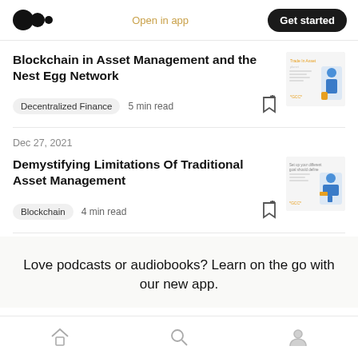Medium app header with logo, Open in app, Get started
Blockchain in Asset Management and the Nest Egg Network
Decentralized Finance  5 min read
Dec 27, 2021
Demystifying Limitations Of Traditional Asset Management
Blockchain  4 min read
Love podcasts or audiobooks? Learn on the go with our new app.
Home | Search | Profile